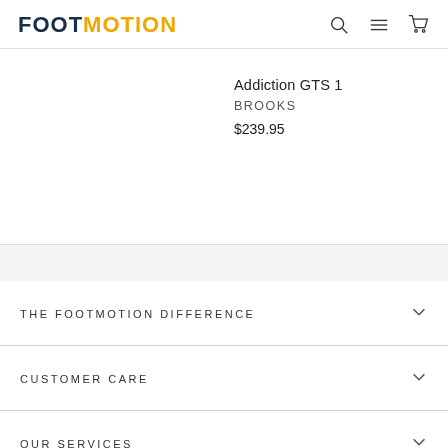FOOT MOTION
Addiction GTS 1
BROOKS
$239.95
THE FOOTMOTION DIFFERENCE
CUSTOMER CARE
OUR SERVICES